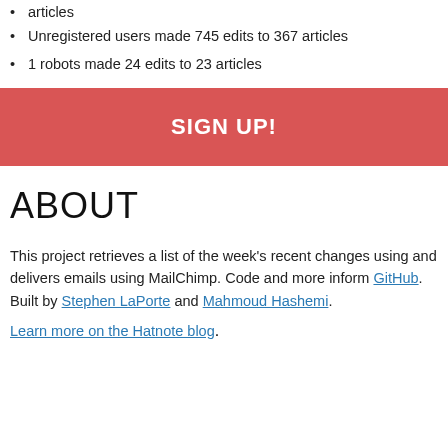articles
Unregistered users made 745 edits to 367 articles
1 robots made 24 edits to 23 articles
SIGN UP!
ABOUT
This project retrieves a list of the week's recent changes using and delivers emails using MailChimp. Code and more inform GitHub. Built by Stephen LaPorte and Mahmoud Hashemi.
Learn more on the Hatnote blog.